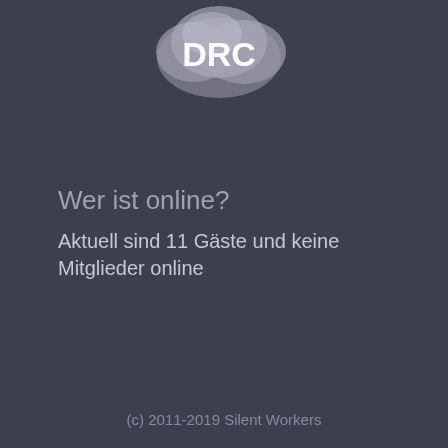[Figure (logo): DRC logo - circular grey/white logo with text 'DRC' on dark background]
Wer ist online?
Aktuell sind 11 Gäste und keine Mitglieder online
(c) 2011-2019 Silent Workers